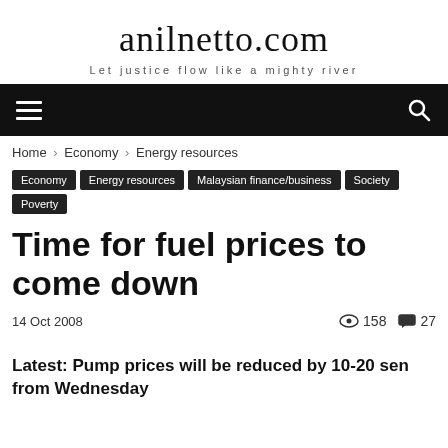anilnetto.com
Let justice flow like a mighty river
Home › Economy › Energy resources
Economy | Energy resources | Malaysian finance/business | Society | Poverty
Time for fuel prices to come down
14 Oct 2008 · 158 views · 27 comments
Latest: Pump prices will be reduced by 10-20 sen from Wednesday